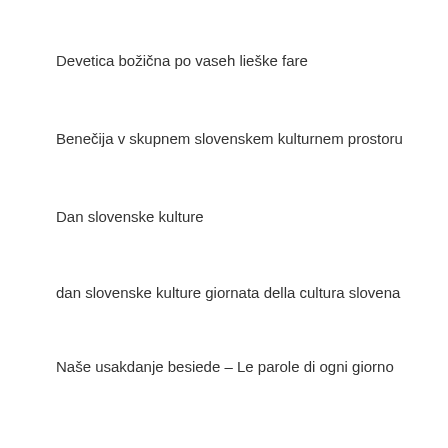Devetica božična po vaseh lieške fare
Benečija v skupnem slovenskem kulturnem prostoru
Dan slovenske kulture
dan slovenske kulture giornata della cultura slovena
Naše usakdanje besiede – Le parole di ogni giorno
Search …
Recent Posts
ESTATE IN CANTO | PETJE POLETJE | ISTÂ IN CJANT – 17.07. Mažeruola| Matajur 14.08 | Platišče 20.08